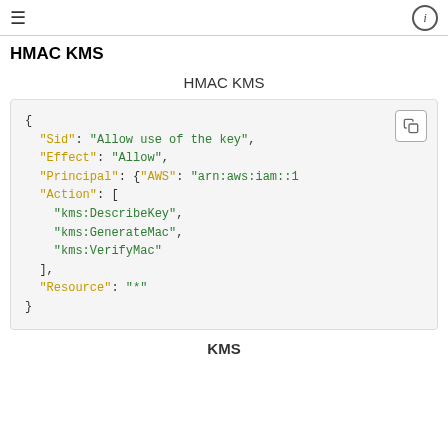≡  ⓘ
HMAC KMS
HMAC KMS
{
  "Sid": "Allow use of the key",
  "Effect": "Allow",
  "Principal": {"AWS": "arn:aws:iam::1
  "Action": [
    "kms:DescribeKey",
    "kms:GenerateMac",
    "kms:VerifyMac"
  ],
  "Resource": "*"
}
KMS